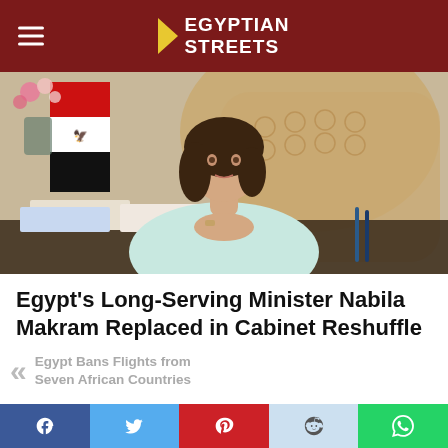Egyptian Streets
[Figure (photo): Woman in light blue blazer sitting at a desk with papers, Egyptian flag in background, ornate chair]
Egypt's Long-Serving Minister Nabila Makram Replaced in Cabinet Reshuffle
Egypt Bans Flights from Seven African Countries
Social share bar: Facebook, Twitter, Pinterest, Reddit, WhatsApp